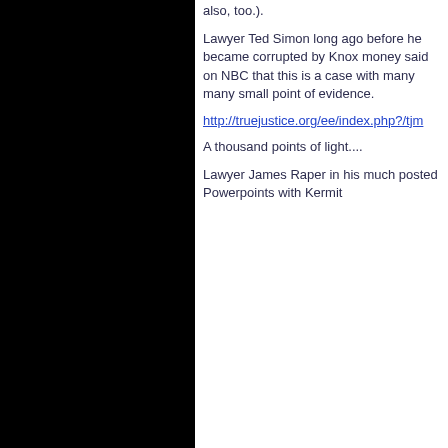also, too.).
Lawyer Ted Simon long ago before he became corrupted by Knox money said on NBC that this is a case with many many small point of evidence.
http://truejustice.org/ee/index.php?/tjm
A thousand points of light....
Lawyer James Raper in his much posted Powerpoints with Kermit